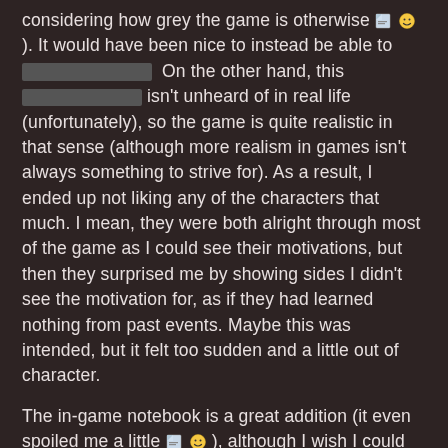considering how grey the game is otherwise [file emoji][smile emoji] ). It would have been nice to instead be able to [redacted] On the other hand, this [redacted] isn't unheard of in real life (unfortunately), so the game is quite realistic in that sense (although more realism in games isn't always something to strive for). As a result, I ended up not liking any of the characters that much. I mean, they were both alright through most of the game as I could see their motivations, but then they surprised me by showing sides I didn't see the motivation for, as if they had learned nothing from past events. Maybe this was intended, but it felt too sudden and a little out of character.
The in-game notebook is a great addition (it even spoiled me a little [file emoji][smile emoji] ), although I wish I could rearrange the pages, and separate notes for